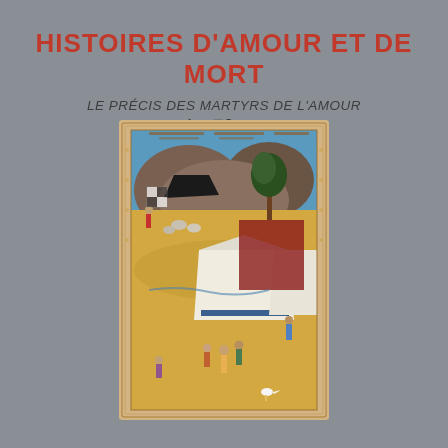HISTOIRES D'AMOUR ET DE MORT
LE PRÉCIS DES MARTYRS DE L'AMOUR DE MUĠULṬĀY (M. 1361)
[Figure (illustration): Illuminated Persian manuscript miniature painting in an ornate gilt border, depicting a camp scene with tents, figures in colorful robes, and a landscape with blue sky, trees, and animals. The painting is set within a decorative beige floral frame.]